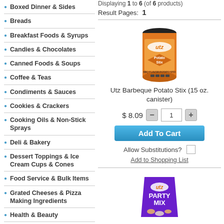Boxed Dinner & Sides
Breads
Breakfast Foods & Syrups
Candies & Chocolates
Canned Foods & Soups
Coffee & Teas
Condiments & Sauces
Cookies & Crackers
Cooking Oils & Non-Stick Sprays
Deli & Bakery
Dessert Toppings & Ice Cream Cups & Cones
Food Service & Bulk Items
Grated Cheeses & Pizza Making Ingredients
Health & Beauty
International & Specialty Foods
Displaying 1 to 6 (of 6 products)
Result Pages: 1
[Figure (photo): Orange Utz Barbeque Potato Stix canister with black lid]
Utz Barbeque Potato Stix (15 oz. canister)
$ 8.09
Allow Substitutions?
Add to Shopping List
[Figure (photo): Purple Utz Party Mix bag]